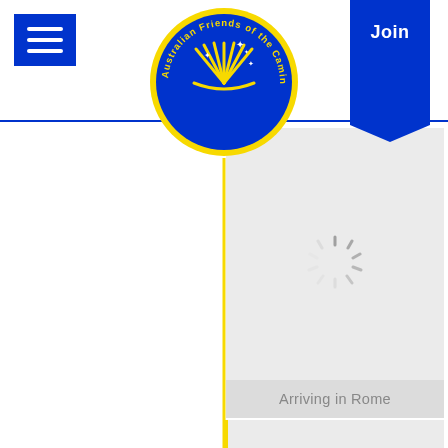[Figure (logo): Australian Friends of the Camino circular logo — dark blue oval with yellow scallop shell and stars, yellow text border]
Join
[Figure (screenshot): Loading spinner (grey radial dashes) on grey card background — first content card]
Arriving in Rome
[Figure (screenshot): Loading spinner (grey radial dashes) on grey card background — second content card]